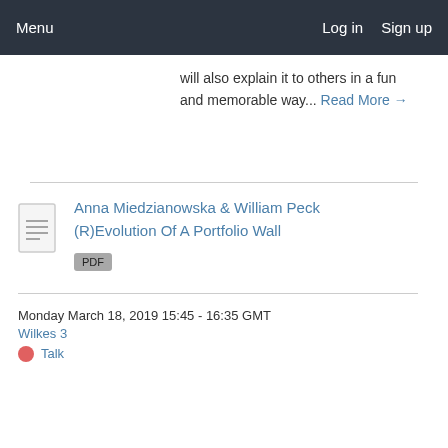Menu    Log in  Sign up
will also explain it to others in a fun and memorable way... Read More →
Anna Miedzianowska & William Peck
(R)Evolution Of A Portfolio Wall
PDF
Monday March 18, 2019 15:45 - 16:35 GMT
Wilkes 3
Talk